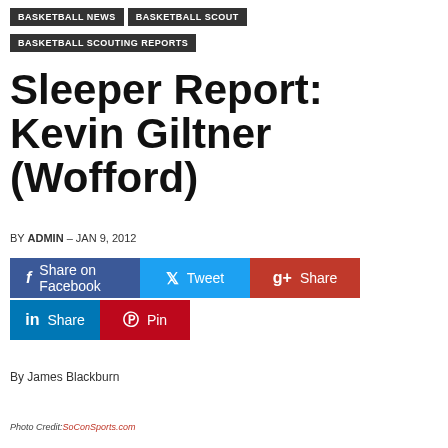BASKETBALL NEWS | BASKETBALL SCOUT | BASKETBALL SCOUTING REPORTS
Sleeper Report: Kevin Giltner (Wofford)
BY ADMIN – JAN 9, 2012
Share on Facebook | Tweet | Share | Share | Pin
By James Blackburn
Photo Credit: SoConSports.com